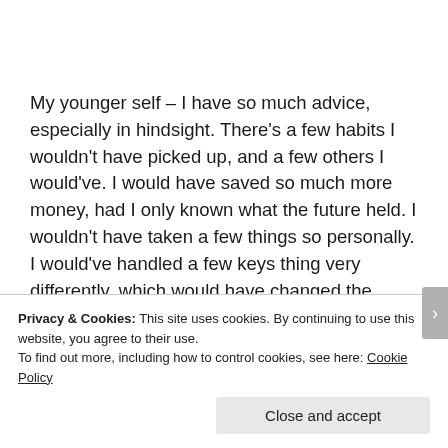My younger self – I have so much advice, especially in hindsight. There's a few habits I wouldn't have picked up, and a few others I would've. I would have saved so much more money, had I only known what the future held. I wouldn't have taken a few things so personally. I would've handled a few keys thing very differently, which would have changed the course of my life in some aspects, I believe, for the better.
This is a tough decision, so good thing it's not for real! If…
Privacy & Cookies: This site uses cookies. By continuing to use this website, you agree to their use. To find out more, including how to control cookies, see here: Cookie Policy
Close and accept